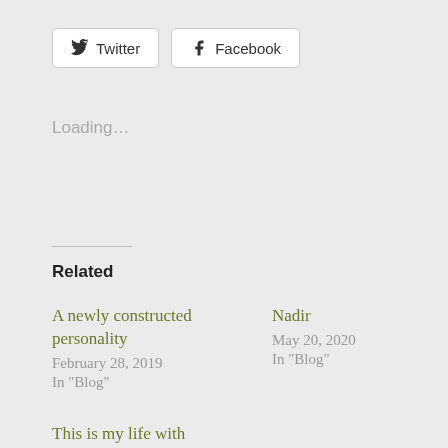[Figure (other): Twitter and Facebook share buttons]
Loading...
Related
A newly constructed personality
February 28, 2019
In "Blog"
Nadir
May 20, 2020
In "Blog"
This is my life with Alzheimer's now
October 21, 2018
In "Blog"